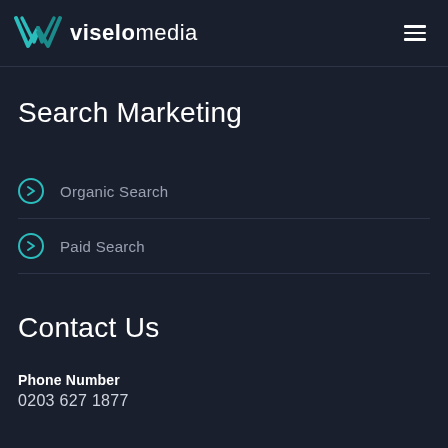viselomedia
Search Marketing
Organic Search
Paid Search
Contact Us
Phone Number
0203 627 1877